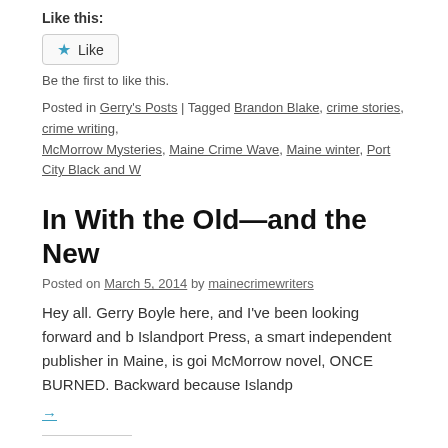Like this:
[Figure (other): Like button widget with star icon]
Be the first to like this.
Posted in Gerry's Posts | Tagged Brandon Blake, crime stories, crime writing, McMorrow Mysteries, Maine Crime Wave, Maine winter, Port City Black and W...
In With the Old—and the New
Posted on March 5, 2014 by mainecrimewriters
Hey all. Gerry Boyle here, and I've been looking forward and b... Islandport Press, a smart independent publisher in Maine, is goi... McMorrow novel, ONCE BURNED. Backward because Islandp...
→
Share this:
[Figure (other): Twitter and Facebook share buttons]